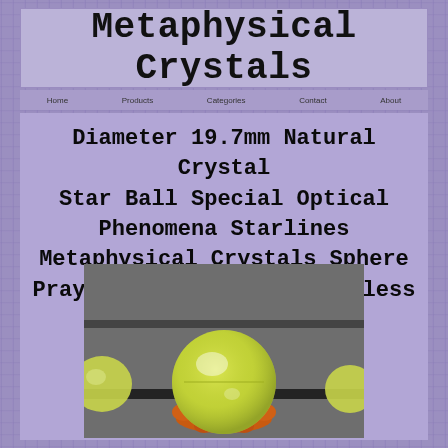Metaphysical Crystals
Diameter 19.7mm Natural Crystal Star Ball Special Optical Phenomena Starlines Metaphysical Crystals Sphere Prayer Gazing Balls God Bless
[Figure (photo): A yellow-green crystal sphere sitting in an orange decorative claw holder on a grey textured surface, with partial views of other yellow crystal balls on the sides]